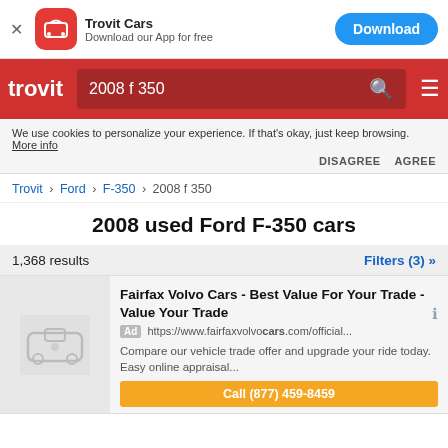[Figure (screenshot): App banner with Trovit Cars icon, 'Trovit Cars / Download our App for free' text, and blue Download button]
[Figure (screenshot): Trovit red navigation bar with logo, search box showing '2008 f 350', search icon, and hamburger menu]
We use cookies to personalize your experience. If that's okay, just keep browsing. More info
DISAGREE   AGREE
Trovit › Ford › F-350 › 2008 f 350
2008 used Ford F-350 cars
1,368 results
Filters (3) »
Fairfax Volvo Cars - Best Value For Your Trade - Value Your Trade
Ad https://www.fairfaxvolvocars.com/official...
Compare our vehicle trade offer and upgrade your ride today. Easy online appraisal...
Call (877) 459-8459